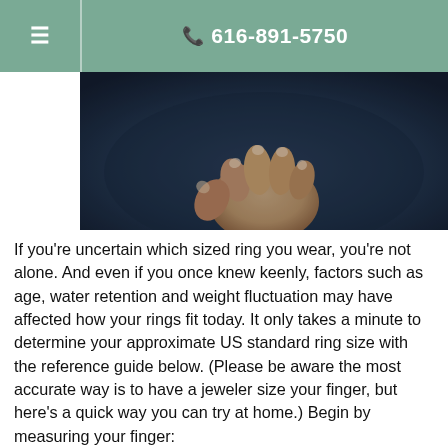☰ | ☏ 616-891-5750
[Figure (photo): Close-up photo of a human hand with fingers slightly curled, against a dark background]
If you're uncertain which sized ring you wear, you're not alone. And even if you once knew keenly, factors such as age, water retention and weight fluctuation may have affected how your rings fit today. It only takes a minute to determine your approximate US standard ring size with the reference guide below. (Please be aware the most accurate way is to have a jeweler size your finger, but here's a quick way you can try at home.) Begin by measuring your finger: